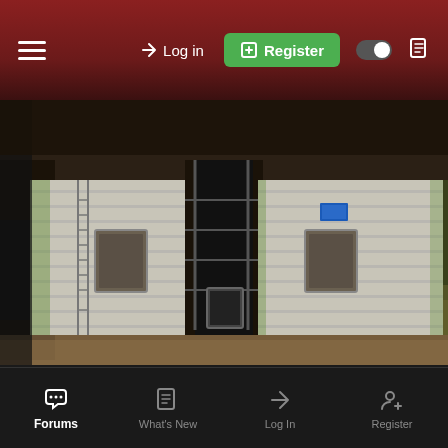[Figure (screenshot): Mobile website navigation bar with hamburger menu, Log in link, green Register button, dark mode toggle, and document icon on a dark red gradient background]
[Figure (photo): Panoramic photo of large cylindrical grain silos in an abandoned or industrial setting, concrete structures with green algae, metal doors and access hatches, rusty metal scaffolding between silos, sawdust or grain debris on ground]
[Figure (photo): Close-up photo of abandoned industrial building interior showing brick walls with green moss/algae, metal hopper or funnel-shaped equipment, vertical metal pipe/column, dark industrial textures]
[Figure (screenshot): Mobile app bottom navigation bar with four items: Forums (active, white), What's New (grey), Log In (grey), Register (grey), each with corresponding icon]